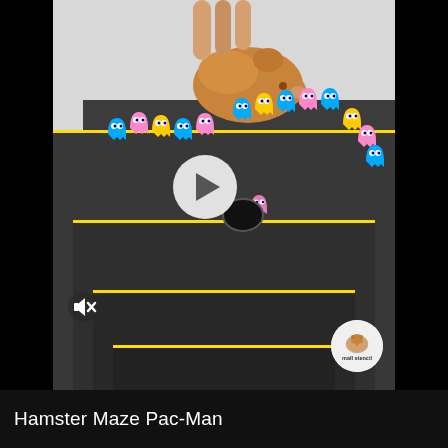[Figure (screenshot): Video thumbnail showing a hamster on a dark stepped Pac-Man themed maze with colorful ghost figurines arranged around the edges. A play button overlay is centered. A mute icon appears at bottom left. A circular channel logo with hamster illustration appears at bottom right of the video frame.]
Hamster Maze Pac-Man